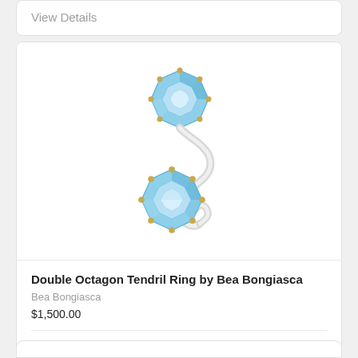View Details
[Figure (photo): Double Octagon Tendril Ring by Bea Bongiasca — a white/silver tendril-style ring band with two large blue topaz octagon-cut gemstones set with gold prongs, one at each end of the spiral tendril.]
Double Octagon Tendril Ring by Bea Bongiasca
Bea Bongiasca
$1,500.00
View Details